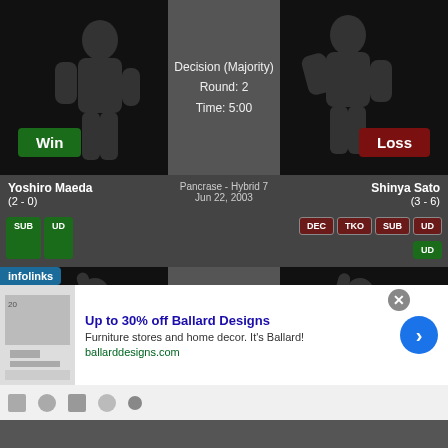[Figure (illustration): Fighter silhouette with Win badge - Yoshiro Maeda fight 1]
Decision (Majority)
Round: 2
Time: 5:00
[Figure (illustration): Fighter silhouette with Loss badge - Shinya Sato fight 1]
Yoshiro Maeda (2 - 0)
Pancrase - Hybrid 7
Jun 22, 2003
Shinya Sato (3 - 6)
SUB UD badges
DEC TKO SUB UD UD badges
[Figure (illustration): Fighter silhouette with Win badge - Yoshiro Maeda fight 2]
vs
Decision (Unanimous)
Round: 2
Time: 5:00
[Figure (illustration): Fighter silhouette with Loss badge - Mitsuhisa Sunabe fight 2]
Yoshiro Maeda (1 - 0)
Pancrase - Hybrid 5
May 18, 2003
Mitsuhisa Sunabe (4 - 0)
[Figure (screenshot): Advertisement banner: Up to 30% off Ballard Designs - Furniture stores and home decor. ballarddesigns.com]